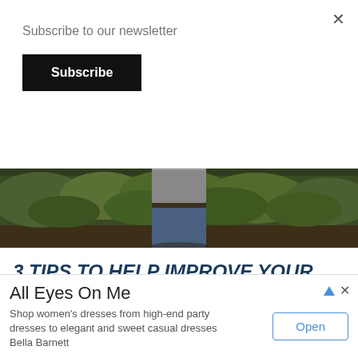Subscribe to our newsletter
Subscribe
[Figure (photo): Outdoor hunting scene showing a person in a gray t-shirt and jeans standing in a forest/woodland setting with green foliage in the background]
3 TIPS TO HELP IMPROVE YOUR BOWHUNTING
There's been a resurgence of bowhunting enthusiasts as people are revisiting a traditional way of hunting. In comparison to hunting with...
lore >>>
All Eyes On Me
Shop women's dresses from high-end party dresses to elegant and sweet casual dresses Bella Barnett
Open